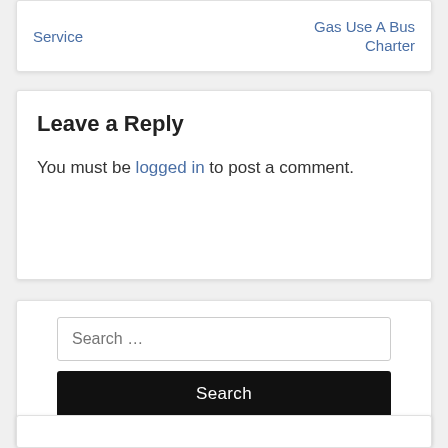Service | Gas Use A Bus Charter
Leave a Reply
You must be logged in to post a comment.
Search ...
Search